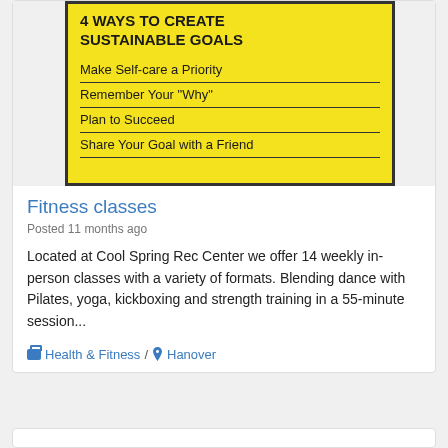[Figure (infographic): Yellow background infographic titled '4 WAYS TO CREATE SUSTAINABLE GOALS' with four items: Make Self-care a Priority, Remember Your "Why", Plan to Succeed, Share Your Goal with a Friend, each separated by a horizontal divider line.]
Fitness classes
Posted 11 months ago
Located at Cool Spring Rec Center we offer 14 weekly in-person classes with a variety of formats. Blending dance with Pilates, yoga, kickboxing and strength training in a 55-minute session...
Health & Fitness / Hanover